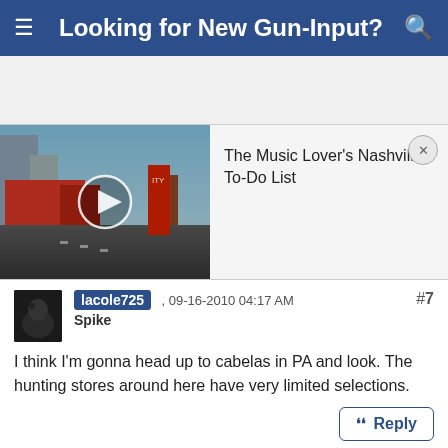Looking for New Gun-Input?
[Figure (screenshot): Video thumbnail of Nashville street scene with play button overlay]
The Music Lover's Nashville To-Do List
#7
lacole725 , 09-16-2010 04:17 AM
Spike
I think I'm gonna head up to cabelas in PA and look. The hunting stores around here have very limited selections.
Reply